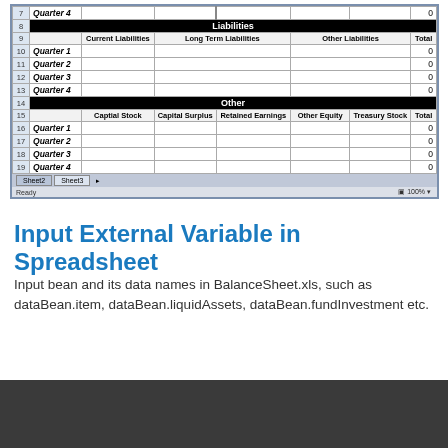[Figure (screenshot): Spreadsheet screenshot showing Liabilities section with quarters 1-4 and columns Current Liabilities, Long Term Liabilities, Other Liabilities, Total; and Other section with Captial Stock, Capital Surplus, Retained Earnings, Other Equity, Treasury Stock, Total columns with quarters 1-4, all values 0]
Input External Variable in Spreadsheet
Input bean and its data names in BalanceSheet.xls, such as dataBean.item, dataBean.liquidAssets, dataBean.fundInvestment etc.
[Figure (screenshot): Dark gray/charcoal bottom panel, partial screenshot]